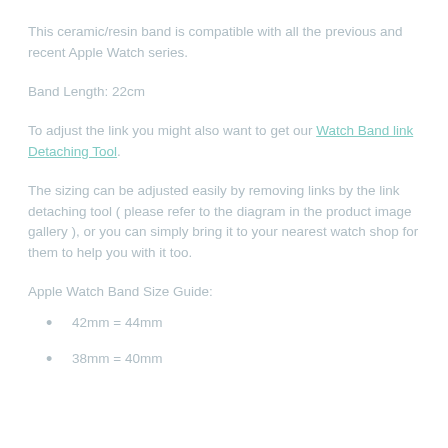This ceramic/resin band is compatible with all the previous and recent Apple Watch series.
Band Length: 22cm
To adjust the link you might also want to get our Watch Band link Detaching Tool.
The sizing can be adjusted easily by removing links by the link detaching tool ( please refer to the diagram in the product image gallery ), or you can simply bring it to your nearest watch shop for them to help you with it too.
Apple Watch Band Size Guide:
42mm = 44mm
38mm = 40mm